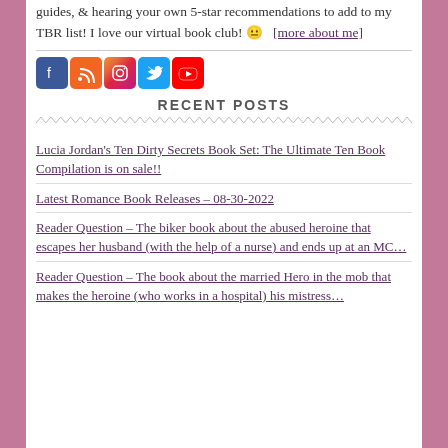guides, & hearing your own 5-star recommendations to add to my TBR list! I love our virtual book club! 😐 [more about me]
[Figure (infographic): Row of 5 social media icons: Facebook (blue), RSS (orange), Instagram (colorful), Twitter (blue), YouTube (red)]
RECENT POSTS
Lucia Jordan's Ten Dirty Secrets Book Set: The Ultimate Ten Book Compilation is on sale!!
Latest Romance Book Releases – 08-30-2022
Reader Question – The biker book about the abused heroine that escapes her husband (with the help of a nurse) and ends up at an MC…
Reader Question – The book about the married Hero in the mob that makes the heroine (who works in a hospital) his mistress…